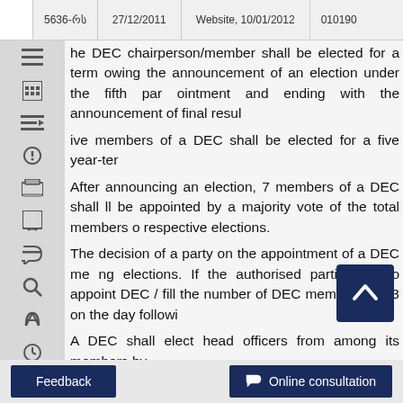5636-რს   27/12/2011   Website, 10/01/2012   010190
he DEC chairperson/member shall be elected for a term owing the announcement of an election under the fifth par ointment and ending with the announcement of final resul
ive members of a DEC shall be elected for a five year-ter
After announcing an election, 7 members of a DEC shall ll be appointed by a majority vote of the total members o respective elections.
The decision of a party on the appointment of a DEC me ng elections. If the authorised parties fail to appoint DEC / fill the number of DEC members to 13 on the day followi
A DEC shall elect head officers from among its members by
A DEC shall not be placed in the same building as the ngeoba, political party (parties), court, and pol
A party, or election headquarters of a party/electoral blo
A DEC may hire as many assisting and technical pers